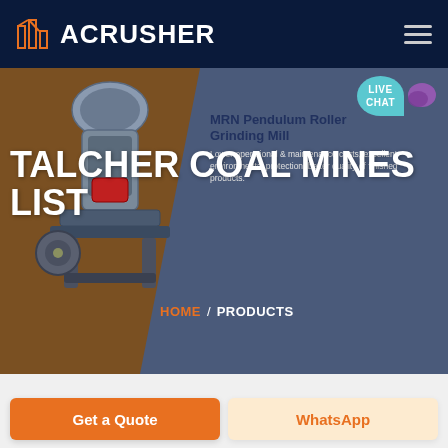[Figure (logo): ACRUSHER brand logo with orange building icon on dark navy background header]
[Figure (screenshot): Hero banner with industrial crusher machine on brown background left, gray-blue right side with product info overlay. Main heading 'TALCHER COAL MINES LIST' in white bold text. Breadcrumb navigation HOME / PRODUCTS. Live chat bubble top right. MRN Pendulum Roller Grinding Mill product card.]
TALCHER COAL MINES LIST
MRN Pendulum Roller Grinding Mill
Lower operational & maintenance costs, excellent environmental protection, better quality of finished products.
HOME / PRODUCTS
[Figure (other): Get a Quote orange button and WhatsApp button at bottom]